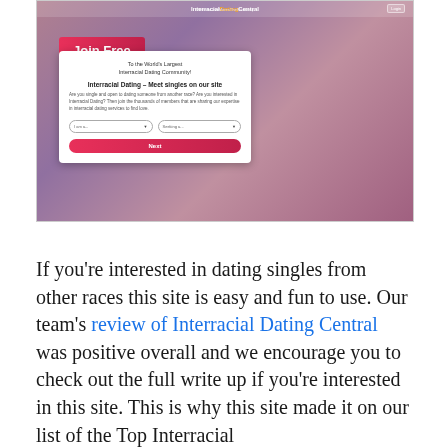[Figure (screenshot): Screenshot of InterracialDatingCentral website showing a 'Join Free' banner over a background photo of a couple, with a signup form card containing dropdowns for 'I am a...' and 'Seeking a...' and a pink 'Next' button.]
If you're interested in dating singles from other races this site is easy and fun to use. Our team's review of Interracial Dating Central was positive overall and we encourage you to check out the full write up if you're interested in this site. This is why this site made it on our list of the Top Interracial